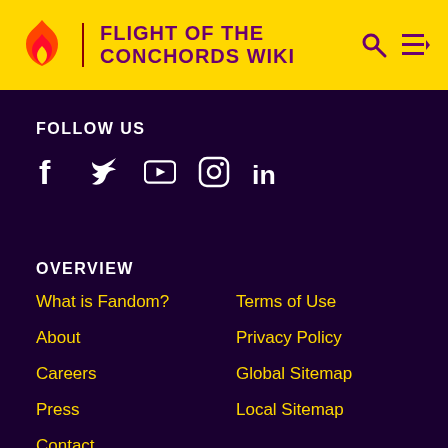FLIGHT OF THE CONCHORDS WIKI
FOLLOW US
[Figure (infographic): Social media icons: Facebook, Twitter, YouTube, Instagram, LinkedIn]
OVERVIEW
What is Fandom?
Terms of Use
About
Privacy Policy
Careers
Global Sitemap
Press
Local Sitemap
Contact